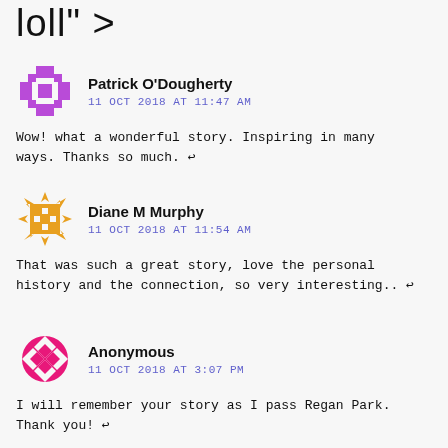loll" >
Patrick O'Dougherty
11 OCT 2018 AT 11:47 AM

Wow! what a wonderful story. Inspiring in many ways. Thanks so much. ↩
Diane M Murphy
11 OCT 2018 AT 11:54 AM

That was such a great story, love the personal history and the connection, so very interesting.. ↩
Anonymous
11 OCT 2018 AT 3:07 PM

I will remember your story as I pass Regan Park. Thank you! ↩